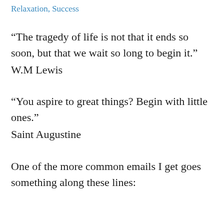Relaxation, Success
“The tragedy of life is not that it ends so soon, but that we wait so long to begin it.” W.M Lewis
“You aspire to great things? Begin with little ones.” Saint Augustine
One of the more common emails I get goes something along these lines: